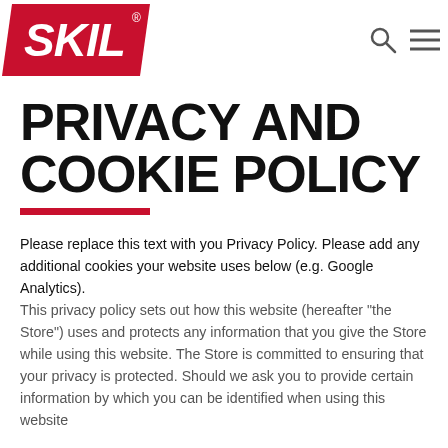[Figure (logo): SKIL brand logo — white italic bold text on a red trapezoid/parallelogram shape]
PRIVACY AND COOKIE POLICY
Please replace this text with you Privacy Policy. Please add any additional cookies your website uses below (e.g. Google Analytics).
This privacy policy sets out how this website (hereafter "the Store") uses and protects any information that you give the Store while using this website. The Store is committed to ensuring that your privacy is protected. Should we ask you to provide certain information by which you can be identified when using this website